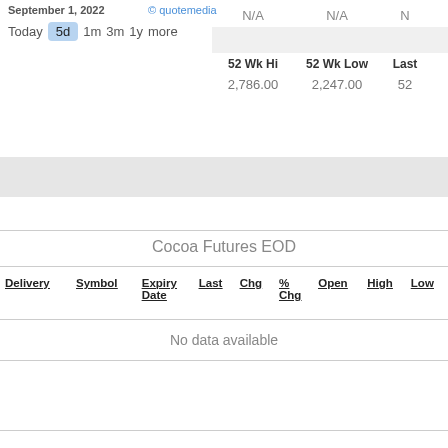September 1, 2022
© quotemedia
Today  5d  1m  3m  1y  more
| 52 Wk Hi | 52 Wk Low | Last |
| --- | --- | --- |
| N/A | N/A | N |
| 2,786.00 | 2,247.00 | 52 |
Cocoa Futures EOD
| Delivery | Symbol | Expiry Date | Last | Chg | % Chg | Open | High | Low |
| --- | --- | --- | --- | --- | --- | --- | --- | --- |
| No data available |  |  |  |  |  |  |  |  |